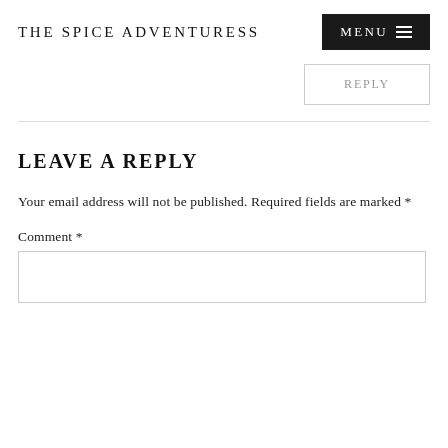THE SPICE ADVENTURESS
REPLY
LEAVE A REPLY
Your email address will not be published. Required fields are marked *
Comment *